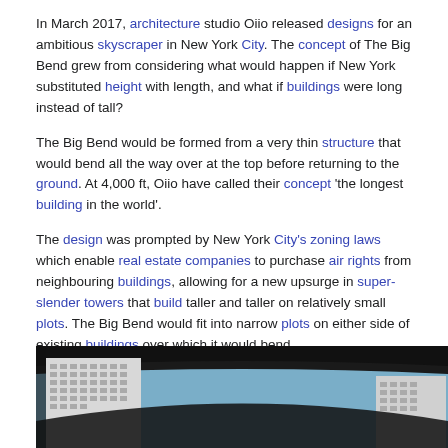In March 2017, architecture studio Oiio released designs for an ambitious skyscraper in New York City. The concept of The Big Bend grew from considering what would happen if New York substituted height with length, and what if buildings were long instead of tall?
The Big Bend would be formed from a very thin structure that would bend all the way over at the top before returning to the ground. At 4,000 ft, Oiio have called their concept 'the longest building in the world'.
The design was prompted by New York City's zoning laws which enable real estate companies to purchase air rights from neighbouring buildings, allowing for a new upsurge in super-slender towers that build taller and taller on relatively small plots. The Big Bend would fit into narrow plots on either side of existing buildings over which it would bend.
[Figure (photo): Photograph showing buildings in New York City with a dark arch or bent structure visible against a blue sky, framed by dark borders at top and bottom.]